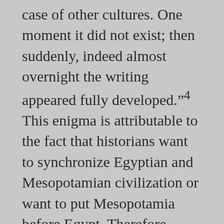case of other cultures. One moment it did not exist; then suddenly, indeed almost overnight the writing appeared fully developed."4 This enigma is attributable to the fact that historians want to synchronize Egyptian and Mesopotamian civilization or want to put Mesopotamia before Egypt. Therefore, Egyptian civilization had to start around 3,200 BC, which gives no time to explain the development of writing. The other problem is that most Egyptologists have refused to look South to Ethiopia